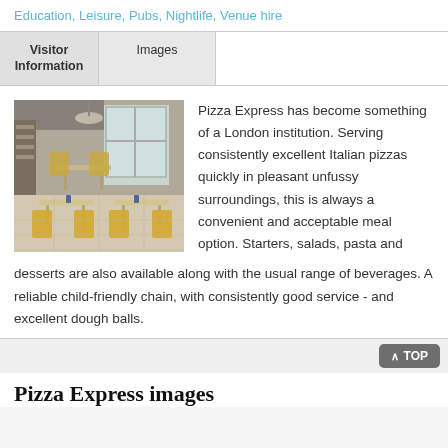Education, Leisure, Pubs, Nightlife, Venue hire
Visitor Information | Images
[Figure (photo): Interior of Pizza Express restaurant showing wooden chairs and tables with white tablecloths, large windows in the background]
Pizza Express has become something of a London institution. Serving consistently excellent Italian pizzas quickly in pleasant unfussy surroundings, this is always a convenient and acceptable meal option. Starters, salads, pasta and desserts are also available along with the usual range of beverages. A reliable child-friendly chain, with consistently good service - and excellent dough balls.
Pizza Express images